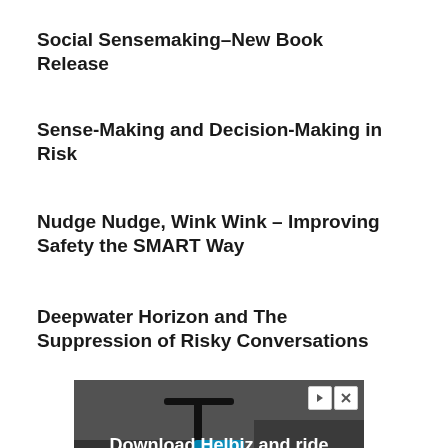Social Sensemaking–New Book Release
Sense-Making and Decision-Making in Risk
Nudge Nudge, Wink Wink – Improving Safety the SMART Way
Deepwater Horizon and The Suppression of Risky Conversations
[Figure (photo): Advertisement banner showing an electric scooter with text 'Download Helbiz and ride']